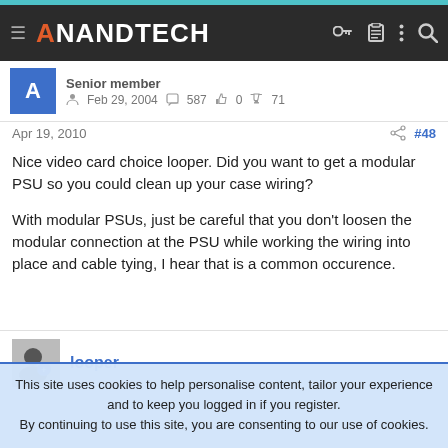AnandTech
Senior member  Feb 29, 2004  587  0  71
Apr 19, 2010  #48
Nice video card choice looper. Did you want to get a modular PSU so you could clean up your case wiring?

With modular PSUs, just be careful that you don't loosen the modular connection at the PSU while working the wiring into place and cable tying, I hear that is a common occurence.
looper
This site uses cookies to help personalise content, tailor your experience and to keep you logged in if you register.
By continuing to use this site, you are consenting to our use of cookies.